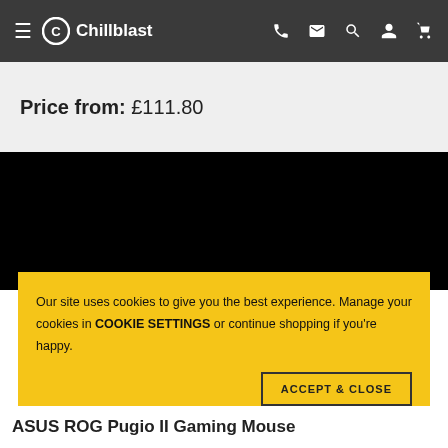Chillblast
Price from: £111.80
[Figure (screenshot): Black background section representing a product image area]
Our site uses cookies to give you the best experience. Manage your cookies in COOKIE SETTINGS or continue shopping if you're happy.
ACCEPT & CLOSE
ASUS ROG Pugio II Gaming Mouse